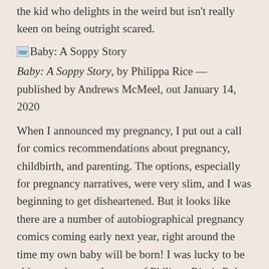the kid who delights in the weird but isn't really keen on being outright scared.
[Figure (illustration): Small broken image icon placeholder for Baby: A Soppy Story book cover]
Baby: A Soppy Story, by Philippa Rice — published by Andrews McMeel, out January 14, 2020
When I announced my pregnancy, I put out a call for comics recommendations about pregnancy, childbirth, and parenting. The options, especially for pregnancy narratives, were very slim, and I was beginning to get disheartened. But it looks like there are a number of autobiographical pregnancy comics coming early next year, right around the time my own baby will be born! I was lucky to be able to grab an early copy of Philippa Rice's Baby, which is both gentle and honest in its depiction of Rice's experience with her first pregnancy. (Judging by her Instagram feed, it looks like she's